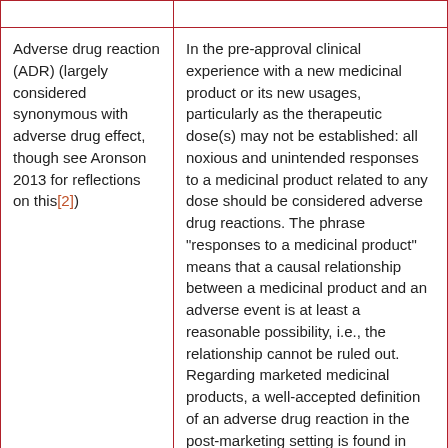|  |  |
| Adverse drug reaction (ADR) (largely considered synonymous with adverse drug effect, though see Aronson 2013 for reflections on this[2]) | In the pre-approval clinical experience with a new medicinal product or its new usages, particularly as the therapeutic dose(s) may not be established: all noxious and unintended responses to a medicinal product related to any dose should be considered adverse drug reactions. The phrase "responses to a medicinal product" means that a causal relationship between a medicinal product and an adverse event is at least a reasonable possibility, i.e., the relationship cannot be ruled out. Regarding marketed medicinal products, a well-accepted definition of an adverse drug reaction in the post-marketing setting is found in WHO Technical Report 498 [1972] and reads as follows: A response to a drug which is noxious and unintended and which occurs at doses normally used in man |